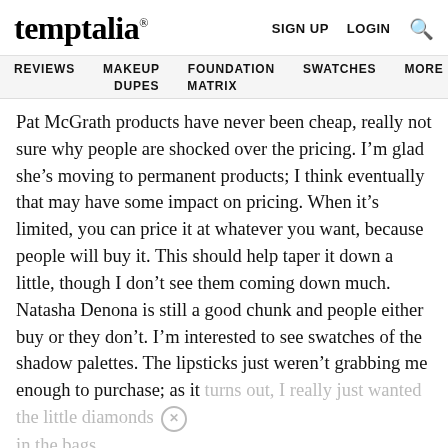temptalia® | SIGN UP  LOGIN  🔍
REVIEWS  MAKEUP  FOUNDATION  SWATCHES  MORE  DUPES  MATRIX
Pat McGrath products have never been cheap, really not sure why people are shocked over the pricing. I'm glad she's moving to permanent products; I think eventually that may have some impact on pricing. When it's limited, you can price it at whatever you want, because people will buy it. This should help taper it down a little, though I don't see them coming down much. Natasha Denona is still a good chunk and people either buy or they don't. I'm interested to see swatches of the shadow palettes. The lipsticks just weren't grabbing me enough to purchase; as it turns out, I really just wanted the little diamonds in the bags.